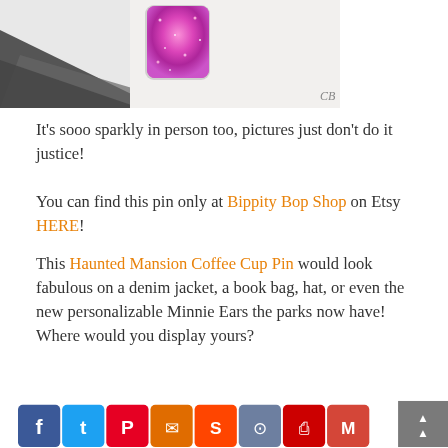[Figure (photo): Close-up photo of a pink/magenta sparkly glitter enamel pin on a light background with dark surface visible in bottom-left corner. A watermark 'CB' is visible in the bottom-right of the photo.]
It's sooo sparkly in person too, pictures just don't do it justice!
You can find this pin only at Bippity Bop Shop on Etsy HERE!
This Haunted Mansion Coffee Cup Pin would look fabulous on a denim jacket, a book bag, hat, or even the new personalizable Minnie Ears the parks now have! Where would you display yours?
[Figure (screenshot): Row of social media sharing icon buttons at the bottom of the page: Facebook (blue), Twitter (blue), Pinterest (red), Email (orange), Reddit (orange-red), Bookmark (gray-blue), Print (red), Gmail (red), Blogger (dark blue), and more. A gray scroll-to-top button with double chevron up arrows is on the far right.]